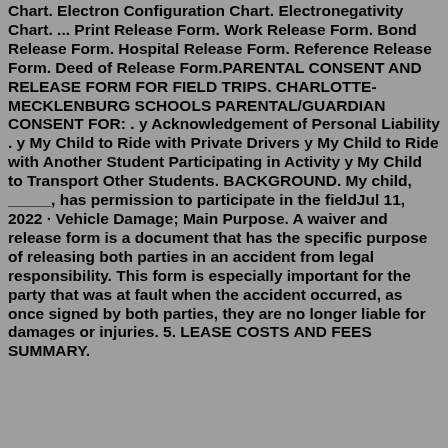Chart. Electron Configuration Chart. Electronegativity Chart. ... Print Release Form. Work Release Form. Bond Release Form. Hospital Release Form. Reference Release Form. Deed of Release Form.PARENTAL CONSENT AND RELEASE FORM FOR FIELD TRIPS. CHARLOTTE-MECKLENBURG SCHOOLS PARENTAL/GUARDIAN CONSENT FOR: . y Acknowledgement of Personal Liability . y My Child to Ride with Private Drivers y My Child to Ride with Another Student Participating in Activity y My Child to Transport Other Students. BACKGROUND. My child, _____, has permission to participate in the fieldJul 11, 2022 · Vehicle Damage; Main Purpose. A waiver and release form is a document that has the specific purpose of releasing both parties in an accident from legal responsibility. This form is especially important for the party that was at fault when the accident occurred, as once signed by both parties, they are no longer liable for damages or injuries. 5. LEASE COSTS AND FEES SUMMARY.